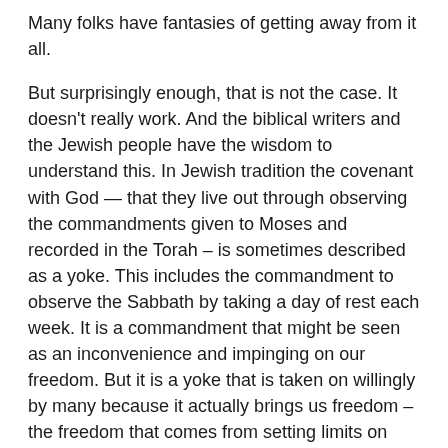Many folks have fantasies of getting away from it all.
But surprisingly enough, that is not the case. It doesn't really work. And the biblical writers and the Jewish people have the wisdom to understand this. In Jewish tradition the covenant with God — that they live out through observing the commandments given to Moses and recorded in the Torah – is sometimes described as a yoke. This includes the commandment to observe the Sabbath by taking a day of rest each week. It is a commandment that might be seen as an inconvenience and impinging on our freedom. But it is a yoke that is taken on willingly by many because it actually brings us freedom – the freedom that comes from setting limits on how much of our lives we can spend in providing for our bodily and material needs in order to take time to satisfy our soul needs.